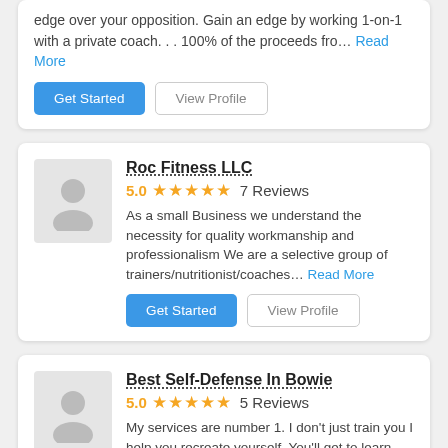edge over your opposition. Gain an edge by working 1-on-1 with a private coach. . . 100% of the proceeds fro... Read More
Get Started | View Profile
Roc Fitness LLC
5.0 ★★★★★ 7 Reviews
As a small Business we understand the necessity for quality workmanship and professionalism We are a selective group of trainers/nutritionist/coaches... Read More
Get Started | View Profile
Best Self-Defense In Bowie
5.0 ★★★★★ 5 Reviews
My services are number 1. I don't just train you I help you recreate yourself. You'll get to learn